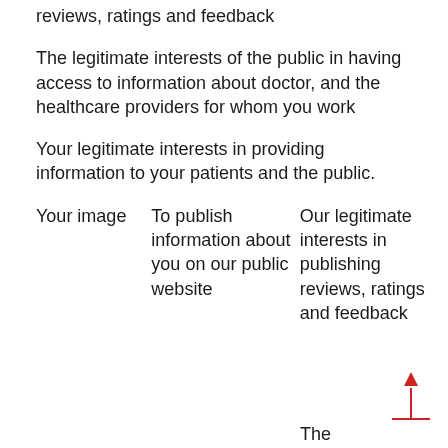reviews, ratings and feedback
The legitimate interests of the public in having access to information about doctor, and the healthcare providers for whom you work
Your legitimate interests in providing information to your patients and the public.
| Your image | To publish information about you on our public website | Our legitimate interests in publishing reviews, ratings and feedback |
The